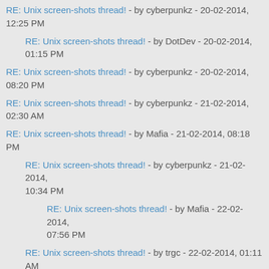RE: Unix screen-shots thread! - by cyberpunkz - 20-02-2014, 12:25 PM
RE: Unix screen-shots thread! - by DotDev - 20-02-2014, 01:15 PM
RE: Unix screen-shots thread! - by cyberpunkz - 20-02-2014, 08:20 PM
RE: Unix screen-shots thread! - by cyberpunkz - 21-02-2014, 02:30 AM
RE: Unix screen-shots thread! - by Mafia - 21-02-2014, 08:18 PM
RE: Unix screen-shots thread! - by cyberpunkz - 21-02-2014, 10:34 PM
RE: Unix screen-shots thread! - by Mafia - 22-02-2014, 07:56 PM
RE: Unix screen-shots thread! - by trgc - 22-02-2014, 01:11 AM
RE: Unix screen-shots thread! - by cyberpunkz - 22-02-2014, 05:43 PM
RE: Unix screen-shots thread! - by Mafia - 23-02-2014, 06:19 AM
RE: Unix screen-shots thread! - by kirby - 23-02-2014, 01:58